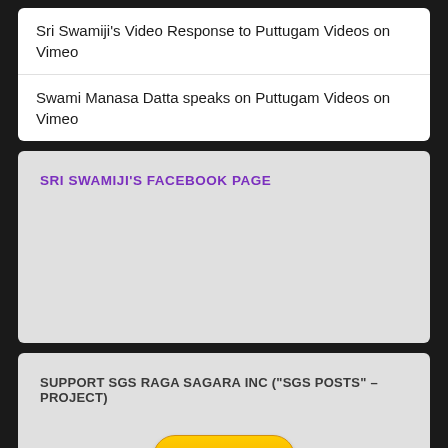Sri Swamiji's Video Response to Puttugam Videos on Vimeo
Swami Manasa Datta speaks on Puttugam Videos on Vimeo
SRI SWAMIJI'S FACEBOOK PAGE
SUPPORT SGS RAGA SAGARA INC ("SGS POSTS" – PROJECT)
[Figure (other): PayPal Donate button with payment card logos (VISA, Mastercard, Mastercard, AmEx, Discover, Maestro)]